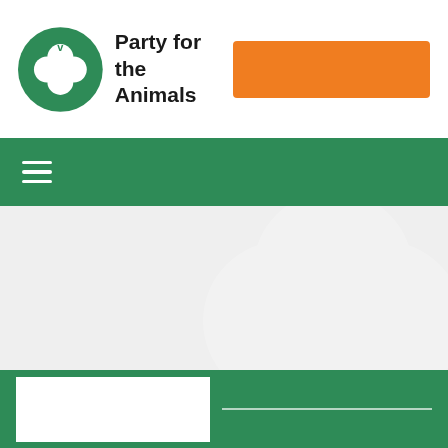[Figure (logo): Party for the Animals logo: green circle with white four-leaf clover/apple icon and small 'v' at top]
Party for the Animals
[Figure (other): Orange/amber rectangular button in top right of header]
[Figure (other): Green navigation bar with hamburger menu icon (three white horizontal lines)]
[Figure (other): Light grey hero/banner area with large white watermark of the Party for the Animals clover logo on the right side]
[Figure (other): Green footer section with white input box and white underline form element]